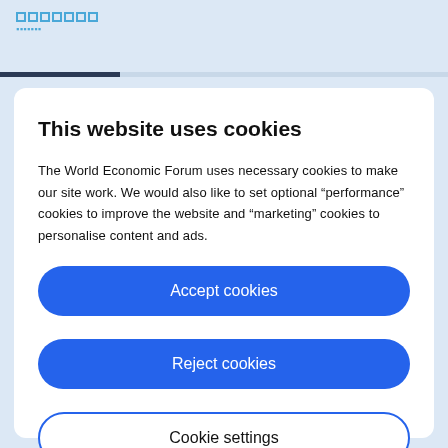[Figure (logo): World Economic Forum logo placeholder shown as small teal/blue outlined squares arranged in a row]
This website uses cookies
The World Economic Forum uses necessary cookies to make our site work. We would also like to set optional “performance” cookies to improve the website and “marketing” cookies to personalise content and ads.
Accept cookies
Reject cookies
Cookie settings